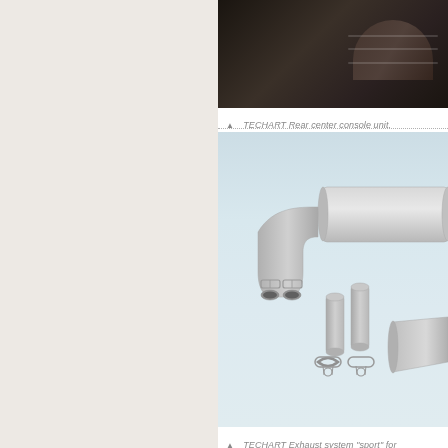[Figure (photo): TECHART rear center console unit, dark leather interior with white stitching]
▲  TECHART Rear center console unit.
[Figure (photo): TECHART Exhaust system sport components laid out including muffler, pipes, clamps and tips on white/grey background]
▲  TECHART Exhaust system "sport" for